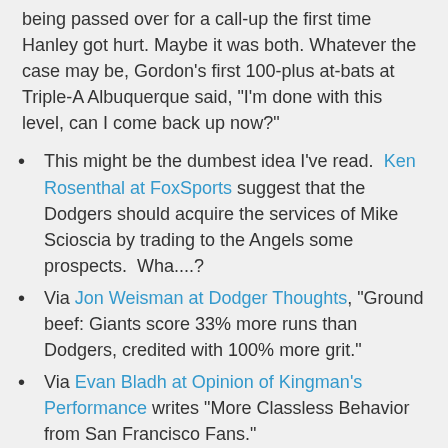being passed over for a call-up the first time Hanley got hurt. Maybe it was both. Whatever the case may be, Gordon's first 100-plus at-bats at Triple-A Albuquerque said, "I'm done with this level, can I come back up now?"
This might be the dumbest idea I've read. Ken Rosenthal at FoxSports suggest that the Dodgers should acquire the services of Mike Scioscia by trading to the Angels some prospects. Wha....?
Via Jon Weisman at Dodger Thoughts, "Ground beef: Giants score 33% more runs than Dodgers, credited with 100% more grit."
Via Evan Bladh at Opinion of Kingman's Performance writes "More Classless Behavior from San Francisco Fans."
David's Autograph Signings shares his experience watching a Dodger game in the Dugout Club.